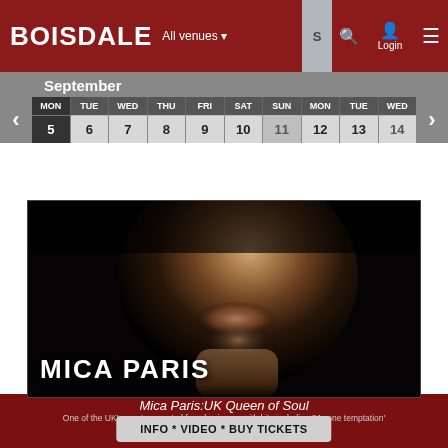Boisdale — All venues — Login
September
| MON | TUE | WED | THU | FRI | SAT | SUN | MON | TUE | WED |
| --- | --- | --- | --- | --- | --- | --- | --- | --- | --- |
| 5 | 6 | 7 | 8 | 9 | 10 | 11 | 12 | 13 | 14 |
[Figure (photo): Close-up artistic photo of a woman's face and neck against a dark background, with the text 'MICA PARIS' overlaid in large white bold uppercase letters]
Mica Paris:UK Queen of Soul
One of the UK's most respected female singers with hits including 'My one temptation'
INFO * VIDEO * BUY TICKETS